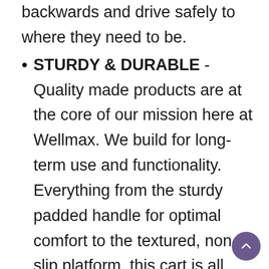backwards and drive safely to where they need to be.
STURDY & DURABLE - Quality made products are at the core of our mission here at Wellmax. We build for long-term use and functionality. Everything from the sturdy padded handle for optimal comfort to the textured, non-slip platform, this cart is all about functionality. Engineered using only the highest quality materials, this platform dolly will be a staple item that you can rely on for years to come.
MULTIPURPOSE - Our customers love to use the Wellmax push cart for a variety of different needs. Whether you're moving household ite...